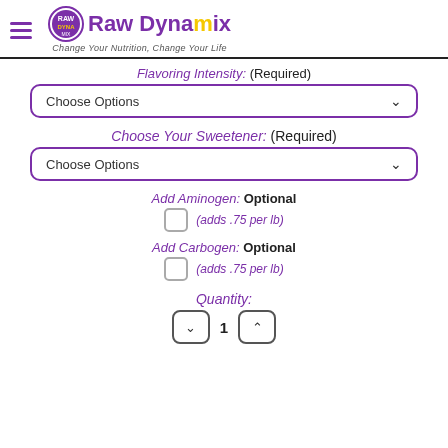Raw Dynamix — Change Your Nutrition, Change Your Life
Flavoring Intensity: (Required)
Choose Options
Choose Your Sweetener: (Required)
Choose Options
Add Aminogen: Optional
(adds .75 per lb)
Add Carbogen: Optional
(adds .75 per lb)
Quantity:
1